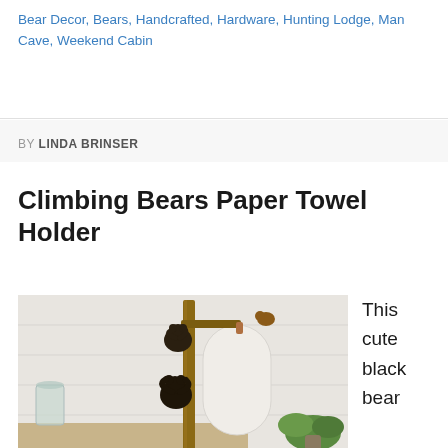Bear Decor, Bears, Handcrafted, Hardware, Hunting Lodge, Man Cave, Weekend Cabin
BY LINDA BRINSER
Climbing Bears Paper Towel Holder
[Figure (photo): Photo of a climbing bears paper towel holder — two dark metal/cast iron bear figurines climbing a rustic wooden pole, with a paper towel roll mounted on top, and a small decorative bird figure at the top. Background shows a kitchen/cabin setting with a glass jar, green plant, and white shiplap wall.]
This cute black bear